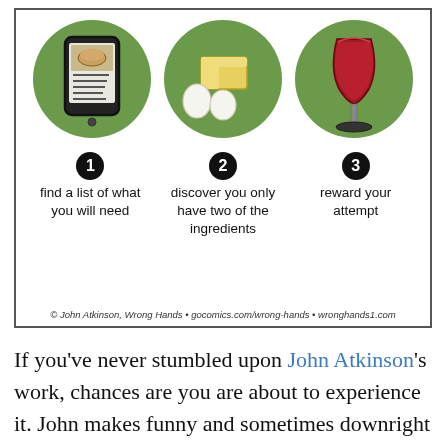[Figure (illustration): Comic strip by John Atkinson (Wrong Hands) showing three steps with green circles containing illustrations: 1) a smartphone showing a recipe/list with a bread icon, 2) butter block and two eggs, 3) a glass of red wine. Below each circle is a numbered step: 1) find a list of what you will need, 2) discover you only have two of the ingredients, 3) reward your attempt. Footer: © John Atkinson, Wrong Hands • gocomics.com/wrong-hands • wronghands1.com]
If you've never stumbled upon John Atkinson's work, chances are you are about to experience it. John makes funny and sometimes downright sarcastic cartoons about pretty much everything. Science? You got it. Literature? It's